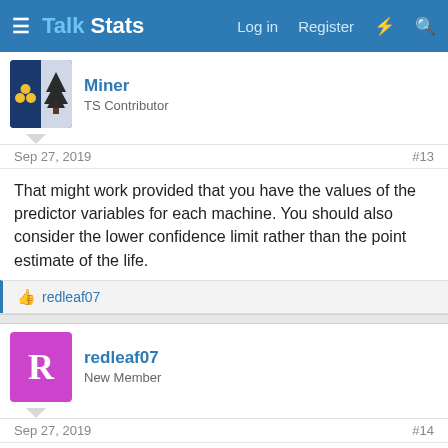Talk Stats | Log in | Register
Miner
TS Contributor
Sep 27, 2019
#13
That might work provided that you have the values of the predictor variables for each machine. You should also consider the lower confidence limit rather than the point estimate of the life.
redleaf07
redleaf07
New Member
Sep 27, 2019
#14
okay, I think I am going into a rabbit hole with this because I am more familiar with machine learning models where the predicted value would be compared against the response value and the